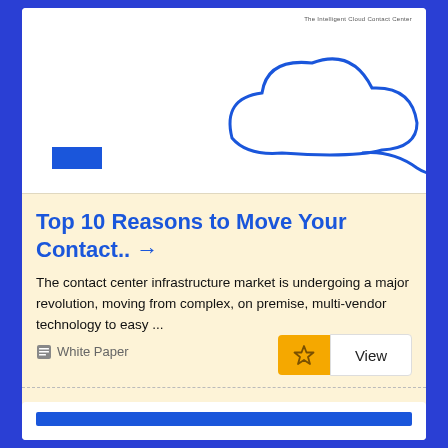[Figure (illustration): White card thumbnail showing a blue outline cloud illustration and small blue rectangle, with tiny header text reading 'The Intelligent Cloud Contact Center']
Top 10 Reasons to Move Your Contact.. →
The contact center infrastructure market is undergoing a major revolution, moving from complex, on premise, multi-vendor technology to easy ...
🗂 White Paper